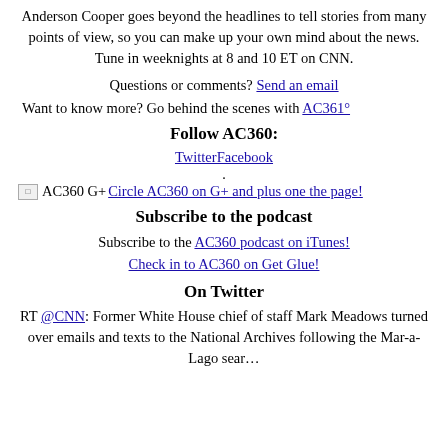Anderson Cooper goes beyond the headlines to tell stories from many points of view, so you can make up your own mind about the news. Tune in weeknights at 8 and 10 ET on CNN.
Questions or comments? Send an email
Want to know more? Go behind the scenes with AC361°
Follow AC360:
TwitterFacebook
.
[AC360 G+] Circle AC360 on G+ and plus one the page!
Subscribe to the podcast
Subscribe to the AC360 podcast on iTunes! Check in to AC360 on Get Glue!
On Twitter
RT @CNN: Former White House chief of staff Mark Meadows turned over emails and texts to the National Archives following the Mar-a-Lago sear…